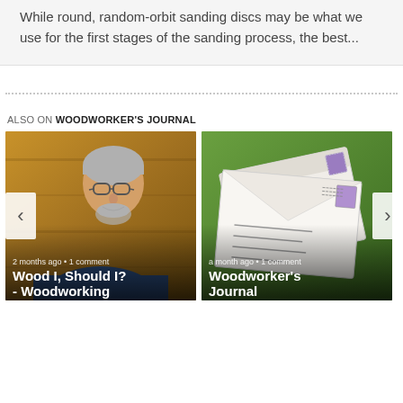While round, random-orbit sanding discs may be what we use for the first stages of the sanding process, the best...
ALSO ON WOODWORKER'S JOURNAL
[Figure (photo): Photo of a middle-aged man with gray hair and glasses, wearing a dark blue shirt, smiling, with wooden background. Card shows '2 months ago • 1 comment' and title 'Wood I, Should I? - Woodworking']
[Figure (photo): Photo of envelopes/mail against a green background. Card shows 'a month ago • 1 comment' and title 'Woodworker's Journal']